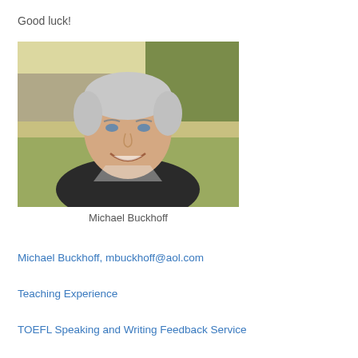Good luck!
[Figure (photo): Portrait photo of Michael Buckhoff, a middle-aged man with grey hair, smiling, wearing a dark jacket, with an outdoor background of trees and grass.]
Michael Buckhoff
Michael Buckhoff, mbuckhoff@aol.com
Teaching Experience
TOEFL Speaking and Writing Feedback Service